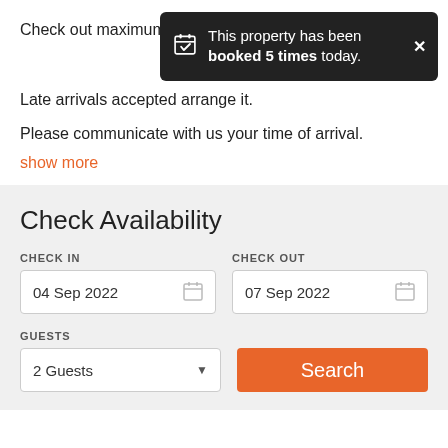Check out maximum
[Figure (infographic): Dark toast notification popup: calendar icon with checkmark, text 'This property has been booked 5 times today.' with a close X button]
Late arrivals accepted arrange it.
Please communicate with us your time of arrival.
show more
Check Availability
CHECK IN
04 Sep 2022
CHECK OUT
07 Sep 2022
GUESTS
2 Guests
Search